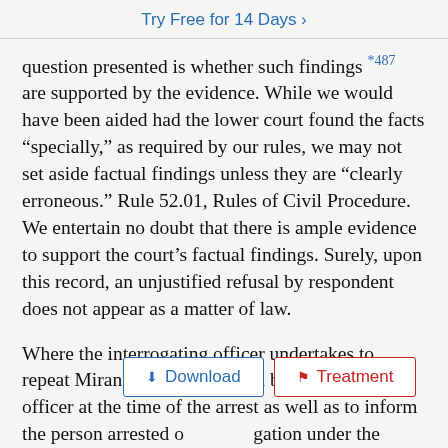Try Free for 14 Days >
question presented is whether such findings *487 are supported by the evidence. While we would have been aided had the lower court found the facts “specially,” as required by our rules, we may not set aside factual findings unless they are “clearly erroneous.” Rule 52.01, Rules of Civil Procedure. We entertain no doubt that there is ample evidence to support the court’s factual findings. Surely, upon this record, an unjustified refusal by respondent does not appear as a matter of law.
Where the interrogating officer undertakes to repeat Miranda warnings given by the arresting officer at the time of the arrest as well as to inform the person arrested of his obligation under the implied-consent statute without at the same time making clear that his constitutional rights to counsel and to remain